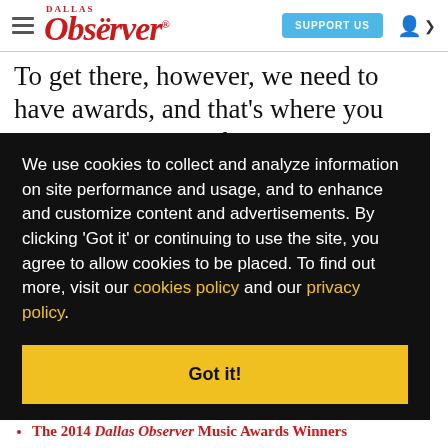Dallas Observer — SUPPORT US
To get there, however, we need to have awards, and that's where you come in. Last month, we
We use cookies to collect and analyze information on site performance and usage, and to enhance and customize content and advertisements. By clicking 'Got it' or continuing to use the site, you agree to allow cookies to be placed. To find out more, visit our cookies policy and our privacy policy.
The 2014 Dallas Observer Music Awards Winners